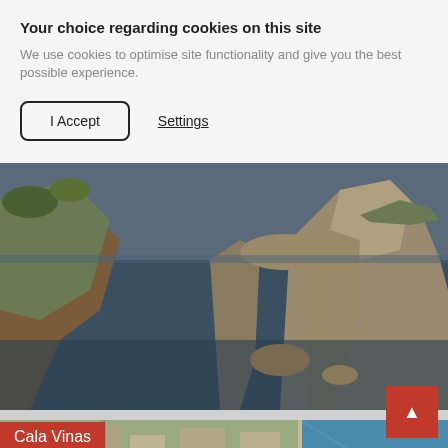Your choice regarding cookies on this site
We use cookies to optimise site functionality and give you the best possible experience.
I Accept
Settings
[Figure (photo): Coastal rock arch formation over dark blue sea water, with rocky cliffs and vegetation visible]
[Figure (photo): Aerial view of Cala Vinas coastal area with buildings and turquoise water]
Cala Vinas